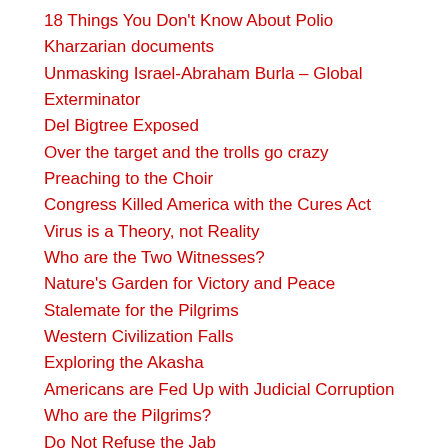18 Things You Don't Know About Polio
Kharzarian documents
Unmasking Israel-Abraham Burla – Global Exterminator
Del Bigtree Exposed
Over the target and the trolls go crazy
Preaching to the Choir
Congress Killed America with the Cures Act
Virus is a Theory, not Reality
Who are the Two Witnesses?
Nature's Garden for Victory and Peace
Stalemate for the Pilgrims
Western Civilization Falls
Exploring the Akasha
Americans are Fed Up with Judicial Corruption
Who are the Pilgrims?
Do Not Refuse the Jab